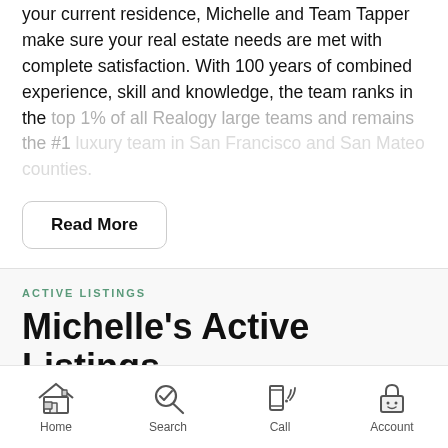your current residence, Michelle and Team Tapper make sure your real estate needs are met with complete satisfaction. With 100 years of combined experience, skill and knowledge, the team ranks in the top 1% of all Realogy large teams and remains the #1 luxury team in San Francisco and San Mateo counties.
Read More
ACTIVE LISTINGS
Michelle's Active Listings
Home  Search  Call  Account